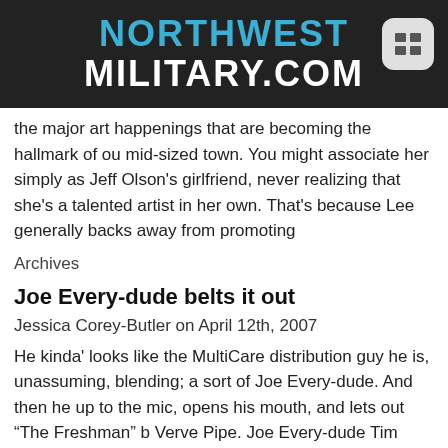NORTHWEST MILITARY.COM
the major art happenings that are becoming the hallmark of our mid-sized town. You might associate her simply as Jeff Olson's girlfriend, never realizing that she's a talented artist in her own. That's because Lee generally backs away from promoting
Archives
Joe Every-dude belts it out
Jessica Corey-Butler on April 12th, 2007
He kinda' looks like the MultiCare distribution guy he is, unassuming, blending; a sort of Joe Every-dude. And then he up to the mic, opens his mouth, and lets out “The Freshman” b Verve Pipe. Joe Every-dude Tim Smith can sing, and when he does, he belts it out from
Archives